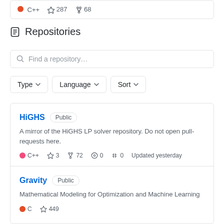[Figure (screenshot): Partial top repository card showing C++, 287, and 68 stats]
Repositories
[Figure (screenshot): Search bar with placeholder text 'Find a repository...']
[Figure (screenshot): Filter row with Type, Language, Sort dropdown buttons]
HiGHS Public - A mirror of the HiGHS LP solver repository. Do not open pull-requests here. C++ 3 72 0 0 Updated yesterday
Gravity Public - Mathematical Modeling for Optimization and Machine Learning